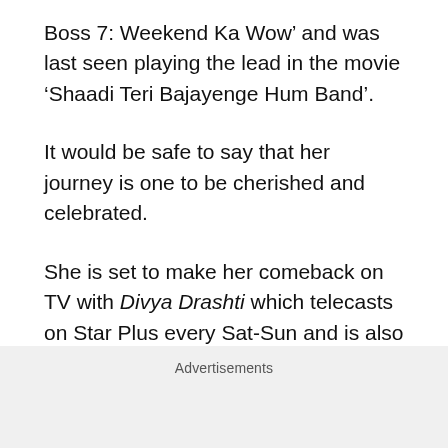Boss 7: Weekend Ka Wow’ and was last seen playing the lead in the movie ‘Shaadi Teri Bajayenge Hum Band’.
It would be safe to say that her journey is one to be cherished and celebrated.
She is set to make her comeback on TV with Divya Drashti which telecasts on Star Plus every Sat-Sun and is also available on Hotstar.
What the future beholds for her isn’t currently a
Advertisements